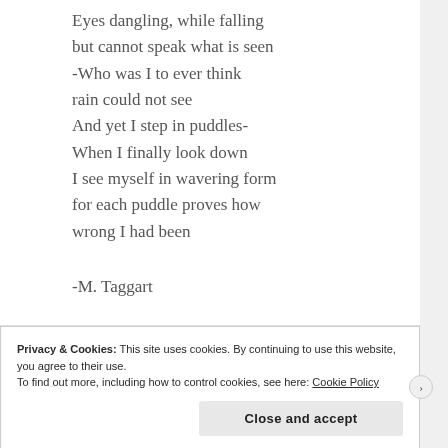Eyes dangling, while falling
but cannot speak what is seen
-Who was I to ever think
rain could not see
And yet I step in puddles-
When I finally look down
I see myself in wavering form
for each puddle proves how
wrong I had been
-M. Taggart
Privacy & Cookies: This site uses cookies. By continuing to use this website, you agree to their use.
To find out more, including how to control cookies, see here: Cookie Policy
Close and accept